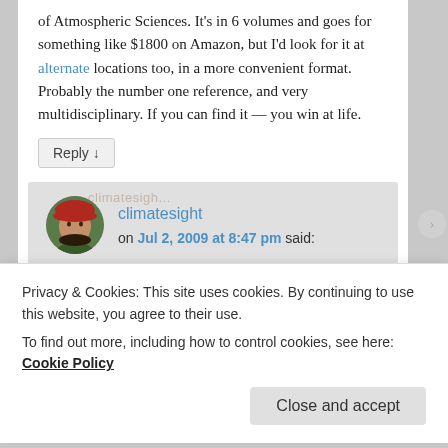of Atmospheric Sciences. It's in 6 volumes and goes for something like $1800 on Amazon, but I'd look for it at alternate locations too, in a more convenient format. Probably the number one reference, and very multidisciplinary. If you can find it — you win at life.
Reply ↓
climatesight on Jul 2, 2009 at 8:47 pm said:
Yikes….perhaps I can borrow a copy from
Privacy & Cookies: This site uses cookies. By continuing to use this website, you agree to their use.
To find out more, including how to control cookies, see here: Cookie Policy